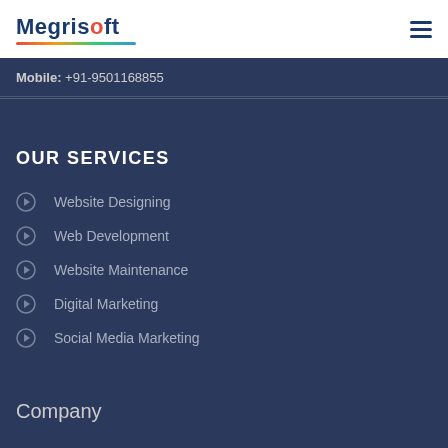Megrisoft
Mobile: +91-9501168855
OUR SERVICES
Website Designing
Web Development
Website Maintenance
Digital Marketing
Social Media Marketing
Company